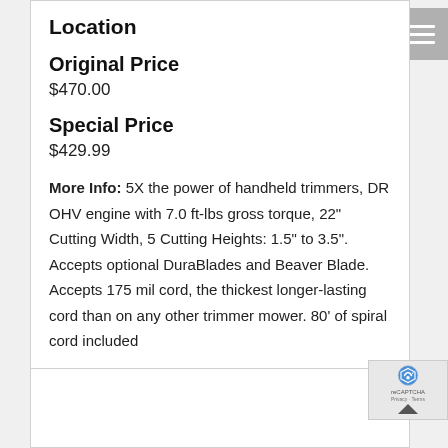Location
Original Price
$470.00
Special Price
$429.99
More Info: 5X the power of handheld trimmers, DR OHV engine with 7.0 ft-lbs gross torque, 22" Cutting Width, 5 Cutting Heights: 1.5" to 3.5". Accepts optional DuraBlades and Beaver Blade. Accepts 175 mil cord, the thickest longer-lasting cord than on any other trimmer mower. 80' of spiral cord included
REQUEST MORE INFO